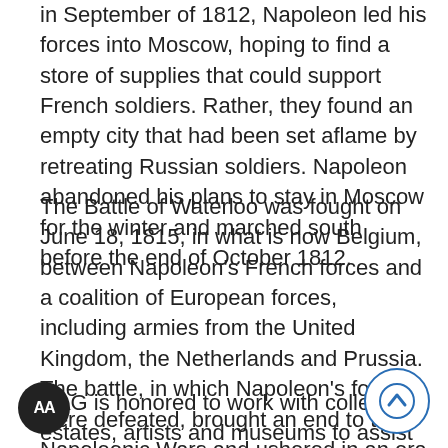In September of 1812, Napoleon led his forces into Moscow, hoping to find a store of supplies that could support French soldiers. Rather, they found an empty city that had been set aflame by retreating Russian soldiers. Napoleon abandoned his plans to stay in Moscow for the winter and marched south before the end of October 1812.
The Battle of Waterloo was fought on June 18, 1815, in what is now Belgium, between Napoleon's French forces and a coalition of European forces, including armies from the United Kingdom, the Netherlands and Prussia. The battle, in which Napoleon's forces were defeated, brought an end to the Napoleonic Wars and ushered in an era of peace known as the Pax Britannica.
CAG is honored to work with collectors, estates, artists and museums to assist in the authentication and preservation of historic memorabilia. More information about its expert preservation and encapsulation services